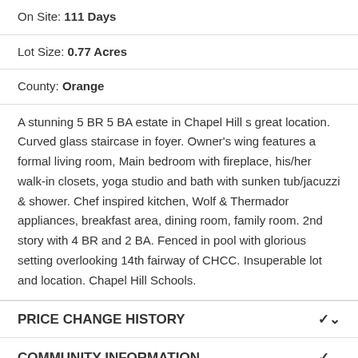On Site: 111 Days
Lot Size: 0.77 Acres
County: Orange
A stunning 5 BR 5 BA estate in Chapel Hill s great location. Curved glass staircase in foyer. Owner's wing features a formal living room, Main bedroom with fireplace, his/her walk-in closets, yoga studio and bath with sunken tub/jacuzzi & shower. Chef inspired kitchen, Wolf & Thermador appliances, breakfast area, dining room, family room. 2nd story with 4 BR and 2 BA. Fenced in pool with glorious setting overlooking 14th fairway of CHCC. Insuperable lot and location. Chapel Hill Schools.
PRICE CHANGE HISTORY
COMMUNITY INFORMATION